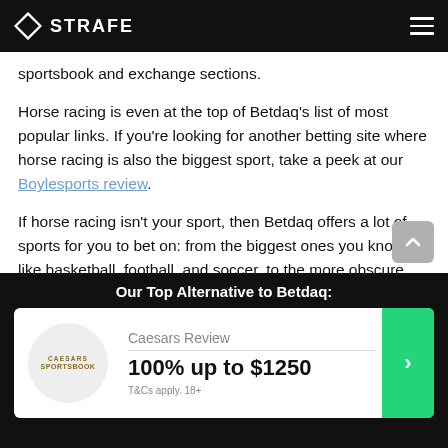STRAFE
sportsbook and exchange sections.
Horse racing is even at the top of Betdaq’s list of most popular links. If you’re looking for another betting site where horse racing is also the biggest sport, take a peek at our Boylesports review.
If horse racing isn’t your sport, then Betdaq offers a lot of sports for you to bet on: from the biggest ones you know, like basketball, football, and soccer, to the more obscure ones, like politics.
To bring you the best sports betting experience, Betdaq
Our Top Alternative to Betdaq:
Caesars Review
100% up to $1250
T&Cs apply. 18+